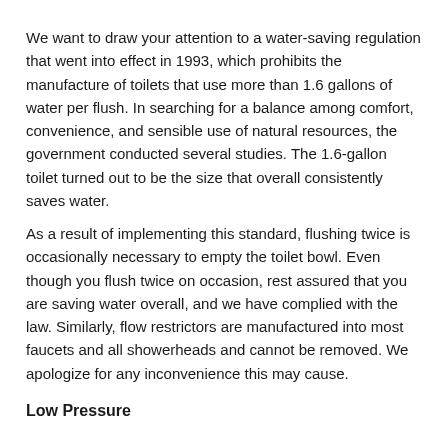We want to draw your attention to a water-saving regulation that went into effect in 1993, which prohibits the manufacture of toilets that use more than 1.6 gallons of water per flush. In searching for a balance among comfort, convenience, and sensible use of natural resources, the government conducted several studies. The 1.6-gallon toilet turned out to be the size that overall consistently saves water.
As a result of implementing this standard, flushing twice is occasionally necessary to empty the toilet bowl. Even though you flush twice on occasion, rest assured that you are saving water overall, and we have complied with the law. Similarly, flow restrictors are manufactured into most faucets and all showerheads and cannot be removed. We apologize for any inconvenience this may cause.
Low Pressure